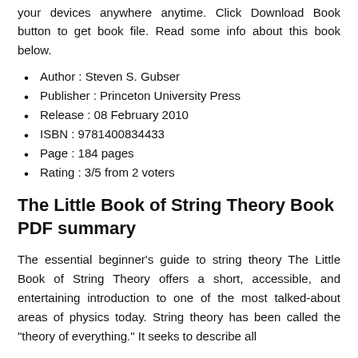your devices anywhere anytime. Click Download Book button to get book file. Read some info about this book below.
Author : Steven S. Gubser
Publisher : Princeton University Press
Release : 08 February 2010
ISBN : 9781400834433
Page : 184 pages
Rating : 3/5 from 2 voters
The Little Book of String Theory Book PDF summary
The essential beginner's guide to string theory The Little Book of String Theory offers a short, accessible, and entertaining introduction to one of the most talked-about areas of physics today. String theory has been called the "theory of everything." It seeks to describe all